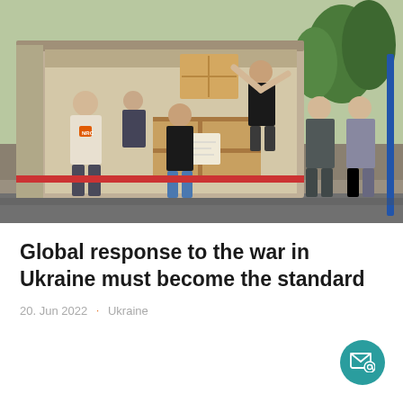[Figure (photo): People unloading boxes and wooden crates from the back of a truck. A worker in a white NRC vest is visible on the left. The scene appears to be a humanitarian aid delivery in Ukraine, with several individuals handling cargo near the open truck bed.]
Global response to the war in Ukraine must become the standard
20. Jun 2022  ·  Ukraine